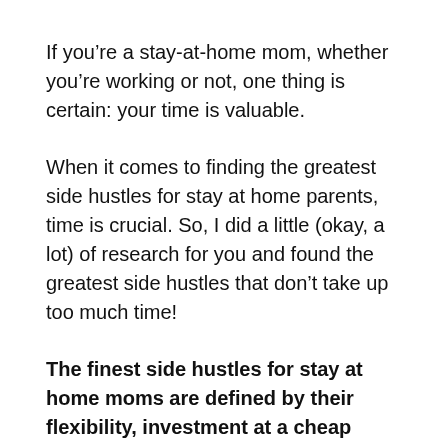If you're a stay-at-home mom, whether you're working or not, one thing is certain: your time is valuable.
When it comes to finding the greatest side hustles for stay at home parents, time is crucial. So, I did a little (okay, a lot) of research for you and found the greatest side hustles that don't take up too much time!
The finest side hustles for stay at home moms are defined by their flexibility, investment at a cheap cost, and income.